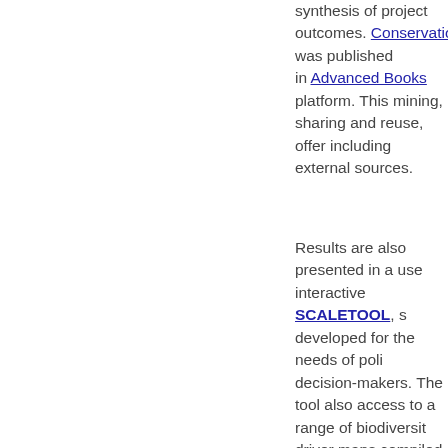synthesis of project outcomes. Conservation" was published in Advanced Books platform. This mining, sharing and reuse, offering including external sources.
Results are also presented in an use interactive SCALETOOL, sp developed for the needs of polic decision-makers. The tool also p access to a range of biodiversity driver maps compiled or created project.
Human actions, motivated by so economic driving forces, genera pressures on biodiversity, such loss and fragmentation, climate land use related disturbance pa species invasions that have an i biodiversity.
Each of these factors acts at ch scales, and the scales of social economic demands, of environ